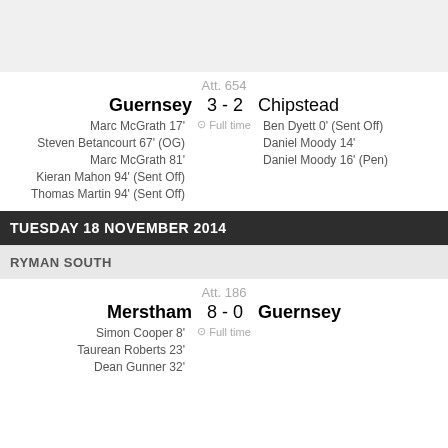Att. 654
Guernsey 3 - 2 Chipstead
Marc McGrath 17' ⊙ Full time Ben Dyett 0' (Sent Off)
Steven Betancourt 67' (OG)
Daniel Moody 14'
Marc McGrath 81'
Daniel Moody 16' (Pen)
Kieran Mahon 94' (Sent Off)
Thomas Martin 94' (Sent Off)
TUESDAY 18 NOVEMBER 2014
RYMAN SOUTH
Att. 186
Merstham 8 - 0 Guernsey
Simon Cooper 8' ⊙ Full time
Taurean Roberts 23'
Dean Gunner 32'